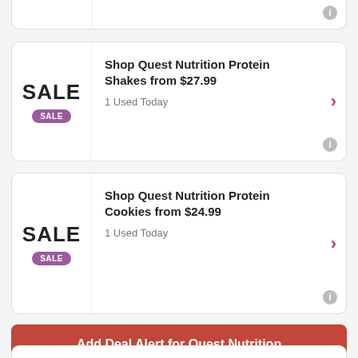[Figure (screenshot): Partial deal card at top of page, cut off]
Shop Quest Nutrition Protein Shakes from $27.99
1 Used Today
Shop Quest Nutrition Protein Cookies from $24.99
1 Used Today
Add Deal Alert for Quest Nutrition